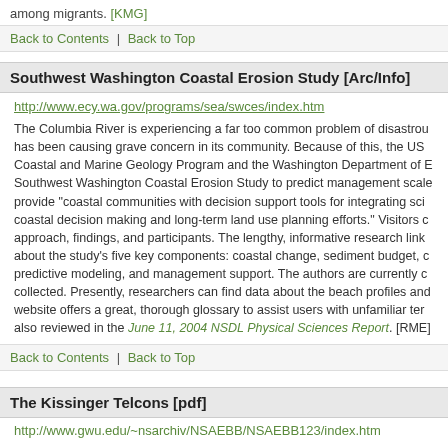among migrants. [KMG]
Back to Contents  |  Back to Top
Southwest Washington Coastal Erosion Study [Arc/Info]
http://www.ecy.wa.gov/programs/sea/swces/index.htm
The Columbia River is experiencing a far too common problem of disastrous coastal erosion that has been causing grave concern in its community. Because of this, the US Geological Survey's Coastal and Marine Geology Program and the Washington Department of Ecology created the Southwest Washington Coastal Erosion Study to predict management scale erosion and provide "coastal communities with decision support tools for integrating scientific results into coastal decision making and long-term land use planning efforts." Visitors can learn about the approach, findings, and participants. The lengthy, informative research links provide information about the study's five key components: coastal change, sediment budget, coastal processes, predictive modeling, and management support. The authors are currently collecting data being collected. Presently, researchers can find data about the beach profiles and nearshore. The website offers a great, thorough glossary to assist users with unfamiliar terms. This site was also reviewed in the June 11, 2004 NSDL Physical Sciences Report. [RME]
Back to Contents  |  Back to Top
The Kissinger Telcons [pdf]
http://www.gwu.edu/~nsarchiv/NSAEBB/NSAEBB123/index.htm